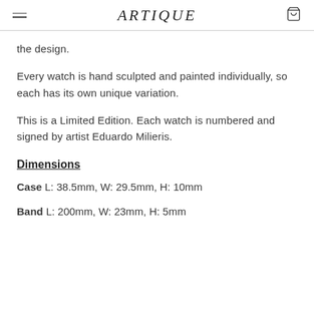ARTIQUE
the design.
Every watch is hand sculpted and painted individually, so each has its own unique variation.
This is a Limited Edition. Each watch is numbered and signed by artist Eduardo Milieris.
Dimensions
Case L: 38.5mm, W: 29.5mm, H: 10mm
Band L: 200mm, W: 23mm, H: 5mm